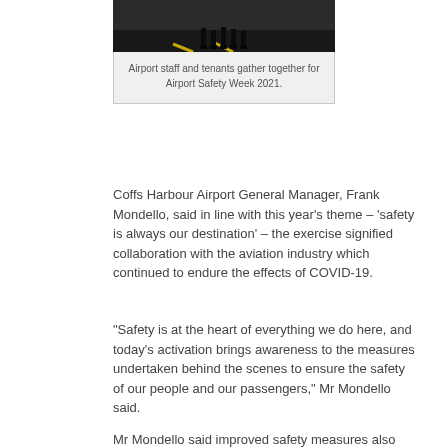[Figure (photo): Aerial or ground-level view of airport staff and tenants gathered on tarmac for Airport Safety Week 2021]
Airport staff and tenants gather together for Airport Safety Week 2021.
Coffs Harbour Airport General Manager, Frank Mondello, said in line with this year's theme – 'safety is always our destination' – the exercise signified collaboration with the aviation industry which continued to endure the effects of COVID-19.
“Safety is at the heart of everything we do here, and today's activation brings awareness to the measures undertaken behind the scenes to ensure the safety of our people and our passengers,” Mr Mondello said.
Mr Mondello said improved safety measures also